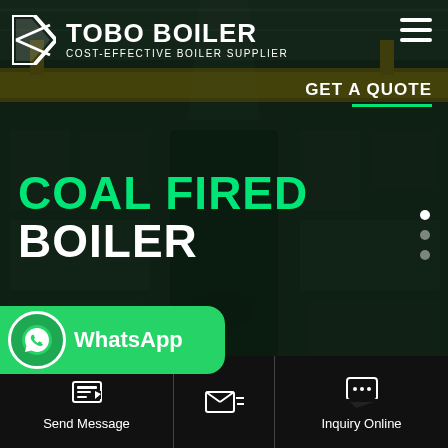[Figure (photo): Industrial factory interior with overhead yellow crane, machinery, and equipment, dark-toned industrial setting]
TOBO BOILER — COST-EFFECTIVE BOILER SUPPLIER
COAL FIRED BOILER
GET A QUOTE
[Figure (logo): WhatsApp button with green background and WhatsApp label]
Send Message
Inquiry Online